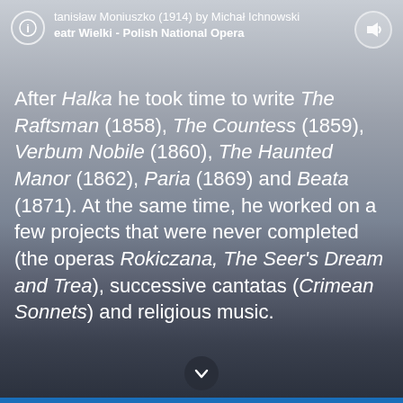tanisław Moniuszko (1914) by Michał Ichnowski
eatr Wielki - Polish National Opera
[Figure (photo): A photograph background showing a muted blue-grey gradient, likely a portrait image fading into the page background.]
After Halka he took time to write The Raftsman (1858), The Countess (1859), Verbum Nobile (1860), The Haunted Manor (1862), Paria (1869) and Beata (1871). At the same time, he worked on a few projects that were never completed (the operas Rokiczana, The Seer's Dream and Trea), successive cantatas (Crimean Sonnets) and religious music.